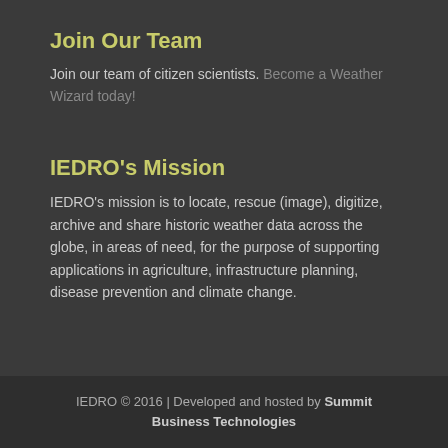Join Our Team
Join our team of citizen scientists. Become a Weather Wizard today!
IEDRO's Mission
IEDRO's mission is to locate, rescue (image), digitize, archive and share historic weather data across the globe, in areas of need, for the purpose of supporting applications in agriculture, infrastructure planning, disease prevention and climate change.
IEDRO © 2016 | Developed and hosted by Summit Business Technologies